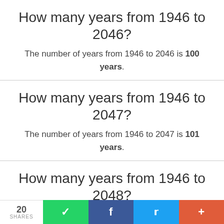How many years from 1946 to 2046?
The number of years from 1946 to 2046 is 100 years.
How many years from 1946 to 2047?
The number of years from 1946 to 2047 is 101 years.
How many years from 1946 to 2048?
The number of years from 1946 to 2048 is 102
20 SHARES